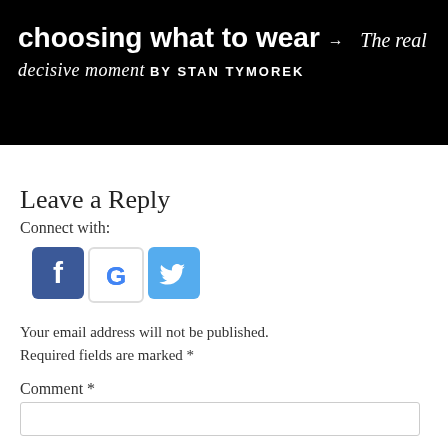choosing what to wear → The real decisive moment BY STAN TYMOREK
Leave a Reply
Connect with:
[Figure (other): Social login icons: Facebook (blue), Google (white with G logo), Twitter (light blue with bird icon)]
Your email address will not be published. Required fields are marked *
Comment *